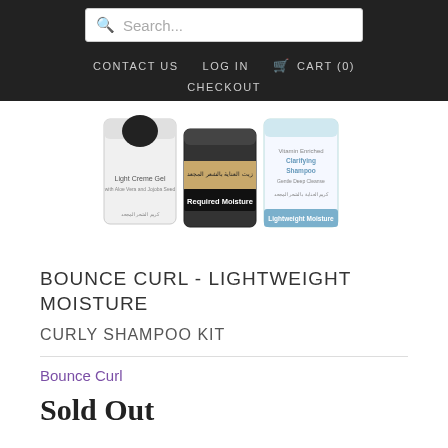Search... | CONTACT US | LOG IN | CART (0) | CHECKOUT
[Figure (photo): Three hair care product bottles from Bounce Curl: Light Creme Gel, Required Moisture, and Clarifying Shampoo / Lightweight Moisture]
BOUNCE CURL - LIGHTWEIGHT MOISTURE
CURLY SHAMPOO KIT
Bounce Curl
Sold Out